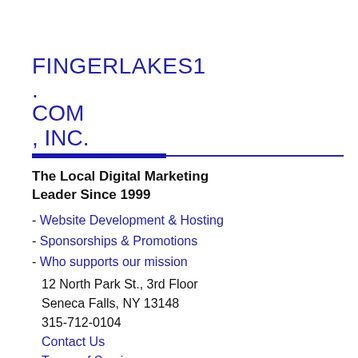FINGERLAKES1
.
COM
, INC.
- Website Development & Hosting
- Sponsorships & Promotions
- Who supports our mission
The Local Digital Marketing Leader Since 1999
12 North Park St., 3rd Floor
Seneca Falls, NY 13148
315-712-0104
Contact Us
Terms of Service